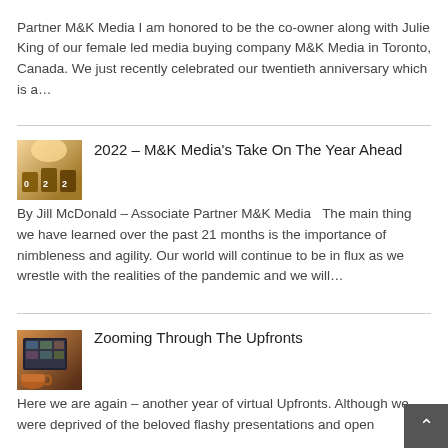Partner M&K Media I am honored to be the co-owner along with Julie King of our female led media buying company M&K Media in Toronto, Canada. We just recently celebrated our twentieth anniversary which is a…
2022 – M&K Media's Take On The Year Ahead
By Jill McDonald – Associate Partner M&K Media   The main thing we have learned over the past 21 months is the importance of nimbleness and agility. Our world will continue to be in flux as we wrestle with the realities of the pandemic and we will…
Zooming Through The Upfronts
Here we are again – another year of virtual Upfronts.  Although we were deprived of the beloved flashy presentations and open
[Figure (photo): Thumbnail image showing wooden blocks with numbers 02 and partial digit, sunlit]
[Figure (photo): Thumbnail image showing a laptop screen with video call grid, mug in foreground]